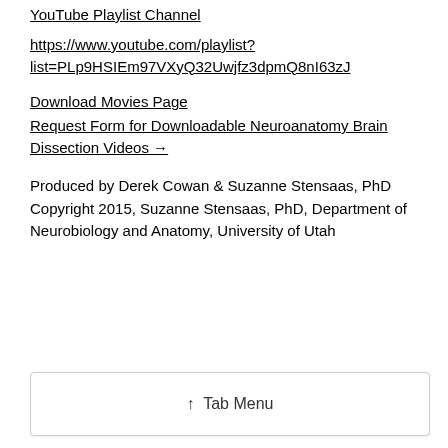YouTube Playlist Channel
https://www.youtube.com/playlist?list=PLp9HSIEm97VXyQ32Uwjfz3dpmQ8nI63zJ
Download Movies Page
Request Form for Downloadable Neuroanatomy Brain Dissection Videos →
Produced by Derek Cowan & Suzanne Stensaas, PhD
Copyright 2015, Suzanne Stensaas, PhD, Department of Neurobiology and Anatomy, University of Utah
↑  Tab Menu